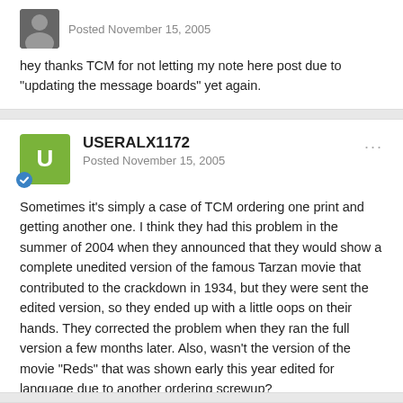Posted November 15, 2005
hey thanks TCM for not letting my note here post due to "updating the message boards" yet again.
USERALX1172
Posted November 15, 2005
Sometimes it's simply a case of TCM ordering one print and getting another one. I think they had this problem in the summer of 2004 when they announced that they would show a complete unedited version of the famous Tarzan movie that contributed to the crackdown in 1934, but they were sent the edited version, so they ended up with a little oops on their hands. They corrected the problem when they ran the full version a few months later. Also, wasn't the version of the movie "Reds" that was shown early this year edited for language due to another ordering screwup?